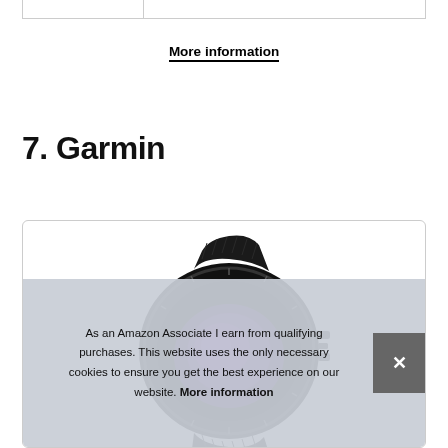More information
7. Garmin
[Figure (photo): A black Garmin smartwatch/GPS watch with a dark wristband, shown from a top-angle view. The watch face has a purple/violet display visible.]
As an Amazon Associate I earn from qualifying purchases. This website uses the only necessary cookies to ensure you get the best experience on our website. More information